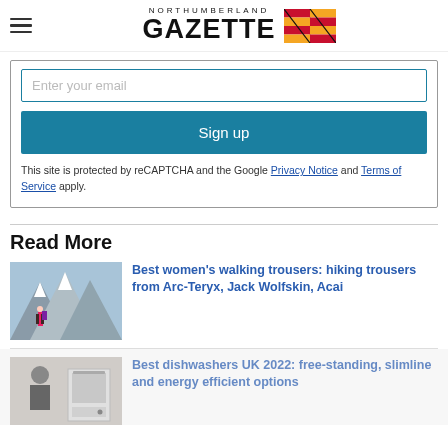NORTHUMBERLAND GAZETTE
Enter your email
Sign up
This site is protected by reCAPTCHA and the Google Privacy Notice and Terms of Service apply.
Read More
Best women's walking trousers: hiking trousers from Arc-Teryx, Jack Wolfskin, Acai
Best dishwashers UK 2022: free-standing, slimline and energy efficient options